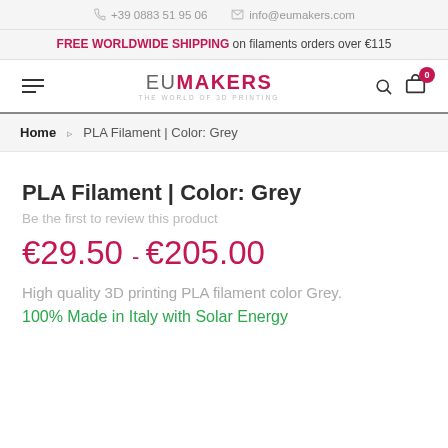+39 0883 51 95 06   info@eumakers.com
FREE WORLDWIDE SHIPPING on filaments orders over €115
[Figure (logo): EUMAKERS logo with hamburger menu, search icon, and cart icon showing badge 0]
Home > PLA Filament | Color: Grey
PLA Filament | Color: Grey
Be the first to review this product
€29.50 – €205.00
High quality 3D printing PLA filament color Grey.
100% Made in Italy with Solar Energy